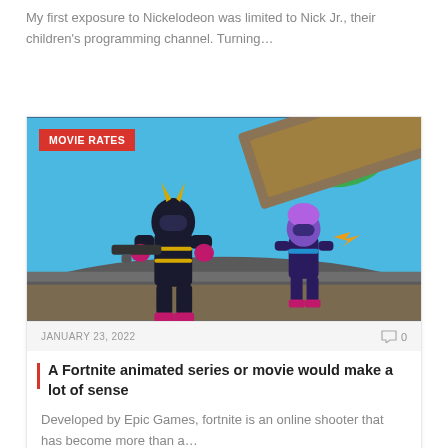My first exposure to Nickelodeon was limited to Nick Jr., their children's programming channel. Turning...
[Figure (screenshot): Fortnite game screenshot showing two animated characters in combat. A badge reading 'MOVIE RATES' is overlaid in the top-left corner.]
JANUARY 23, 2022    0
A Fortnite animated series or movie would make a lot of sense
Developed by Epic Games, fortnite is an online shooter that has become more than a...